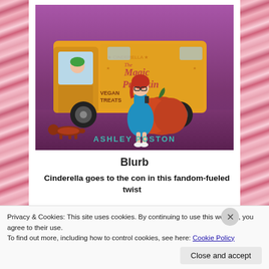[Figure (illustration): Book cover of 'The Magic Pumpkin' by Ashley Poston. Features a yellow/orange food truck with 'Vegan Treats' written on it and a large pumpkin logo. A woman in a blue dress with red hair stands in front holding a phone, and a person with green hair is visible in the truck window. A small dachshund in a red coat walks nearby. Background is purple/mauve. Author name 'ASHLEY POSTON' in teal at bottom.]
Blurb
Cinderella goes to the con in this fandom-fueled twist
Privacy & Cookies: This site uses cookies. By continuing to use this website, you agree to their use.
To find out more, including how to control cookies, see here: Cookie Policy
Close and accept